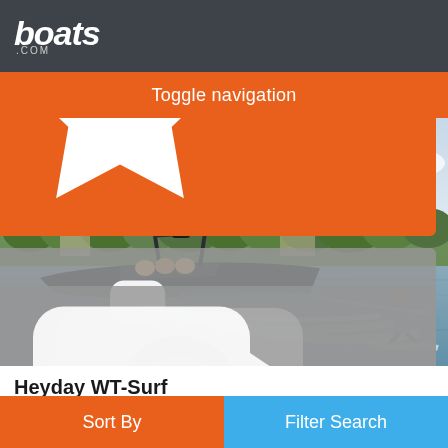boats.com
Toggle navigation
[Figure (photo): A dark wakeboarding/surf boat (Heyday WT-Surf) on a lake with passengers, pulling a wakeboarder on the right who is performing a trick. Green trees and suburban homes visible in background under a partly cloudy sky.]
Heyday WT-Surf
Burnaby, British Columbia
2023
Sort By  Filter Search